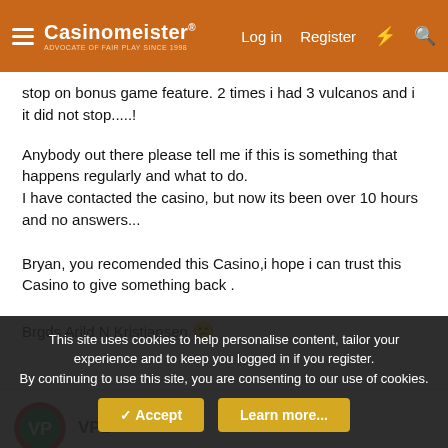Casinomeister | Log in | Register
stop on bonus game feature. 2 times i had 3 vulcanos and i it did not stop.....!
Anybody out there please tell me if this is something that happens regularly and what to do.
I have contacted the casino, but now its been over 10 hours and no answers...
Bryan, you recomended this Casino,i hope i can trust this Casino to give something back .
Brgds Arild N Kristiansen 😕
VPL
This site uses cookies to help personalise content, tailor your experience and to keep you logged in if you register.
By continuing to use this site, you are consenting to our use of cookies.